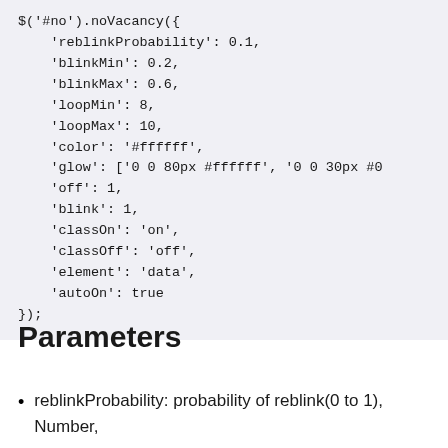$('#no').noVacancy({
    'reblinkProbability': 0.1,
    'blinkMin': 0.2,
    'blinkMax': 0.6,
    'loopMin': 8,
    'loopMax': 10,
    'color': '#ffffff',
    'glow': ['0 0 80px #ffffff', '0 0 30px #0
    'off': 1,
    'blink': 1,
    'classOn': 'on',
    'classOff': 'off',
    'element': 'data',
    'autoOn': true
});
Parameters
reblinkProbability: probability of reblink(0 to 1), Number,